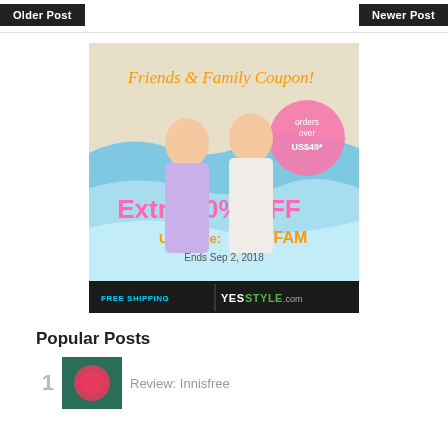Older Post | Newer Post
[Figure (infographic): YesStyle Friends & Family Coupon advertisement. Extra 10% OFF. Use code: 2018FAM. Orders over US$49. Ends Sep 2, 2018. Free Shipping. YesStyle.com. Two young women in light dresses.]
Popular Posts
1  Review: Innisfree